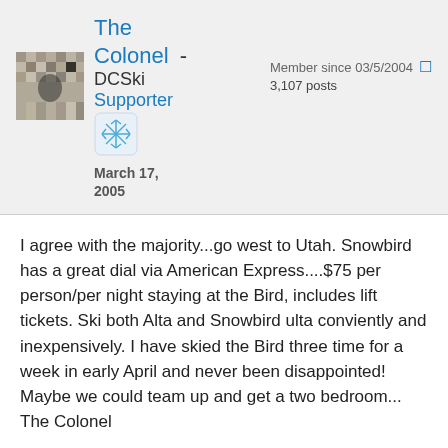The Colonel - DCSki Supporter
Member since 03/5/2004
3,107 posts
March 17, 2005
I agree with the majority...go west to Utah. Snowbird has a great dial via American Express....$75 per person/per night staying at the Bird, includes lift tickets. Ski both Alta and Snowbird ulta conviently and inexpensively. I have skied the Bird three time for a week in early April and never been disappointed! Maybe we could team up and get a two bedroom...
The Colonel